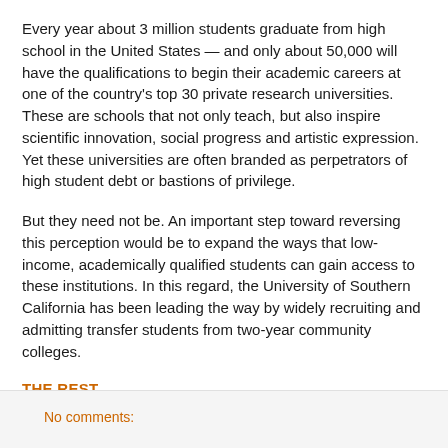Every year about 3 million students graduate from high school in the United States — and only about 50,000 will have the qualifications to begin their academic careers at one of the country's top 30 private research universities. These are schools that not only teach, but also inspire scientific innovation, social progress and artistic expression. Yet these universities are often branded as perpetrators of high student debt or bastions of privilege.
But they need not be. An important step toward reversing this perception would be to expand the ways that low-income, academically qualified students can gain access to these institutions. In this regard, the University of Southern California has been leading the way by widely recruiting and admitting transfer students from two-year community colleges.
THE REST
No comments: